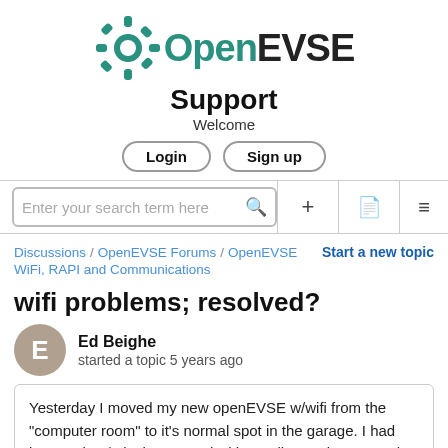[Figure (logo): OpenEVSE gear/cog logo icon in teal color alongside the text OpenEVSE]
Support
Welcome
Login   Sign up
Enter your search term here
Discussions / OpenEVSE Forums / OpenEVSE   Start a new topic
WiFi, RAPI and Communications
wifi problems; resolved?
Ed Beighe
started a topic 5 years ago
Yesterday I moved my new openEVSE w/wifi from the "computer room" to it's normal spot in the garage. I had been using / playing around with sending rapi commands and trying out the web i/f, and all seemed fine.